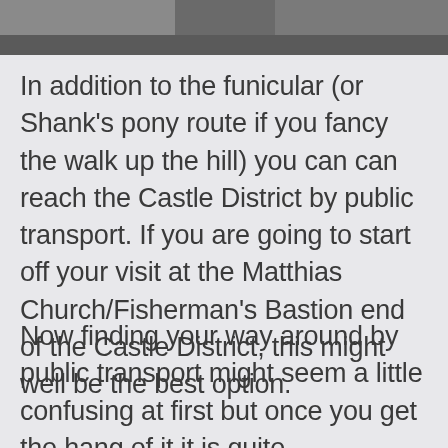[Figure (photo): Partial view of a street or outdoor scene, cropped at the top of the page]
In addition to the funicular (or Shank's pony route if you fancy the walk up the hill) you can can reach the Castle District by public transport. If you are going to start off your visit at the Matthias Church/Fisherman's Bastion end of the Castle District, this might well be the best option.
Now finding your way around by public transport might seem a little confusing at first but once you get the hang of it it is quite straightforward (although admittedly Monsieur Le Chic did work most of it out so I